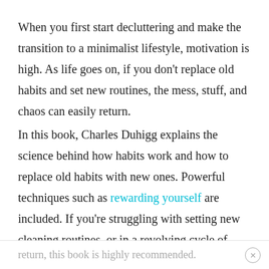When you first start decluttering and make the transition to a minimalist lifestyle, motivation is high. As life goes on, if you don't replace old habits and set new routines, the mess, stuff, and chaos can easily return.
In this book, Charles Duhigg explains the science behind how habits work and how to replace old habits with new ones. Powerful techniques such as rewarding yourself are included. If you're struggling with setting new cleaning routines, or in a revolving cycle of getting stuff out only to see it
return, this book is highly recommended.